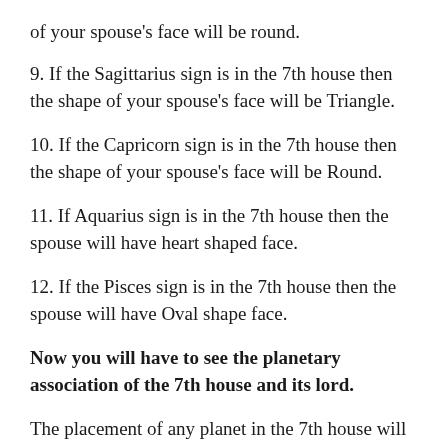of your spouse's face will be round.
9. If the Sagittarius sign is in the 7th house then the shape of your spouse's face will be Triangle.
10. If the Capricorn sign is in the 7th house then the shape of your spouse's face will be Round.
11. If Aquarius sign is in the 7th house then the spouse will have heart shaped face.
12. If the Pisces sign is in the 7th house then the spouse will have Oval shape face.
Now you will have to see the planetary association of the 7th house and its lord.
The placement of any planet in the 7th house will